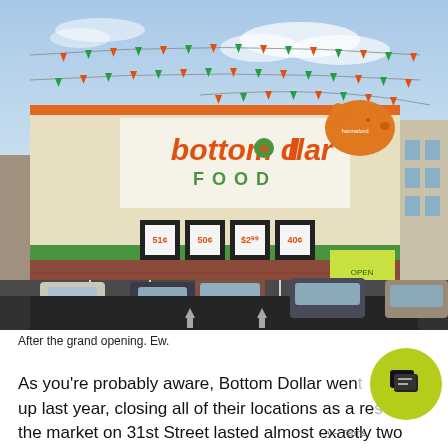[Figure (photo): Exterior photo of a Bottom Dollar Food store at grand opening. The storefront has a cream and tan facade with orange and green 'bottom dollar FOOD' signage. Colorful pennant banners are strung across the parking lot. An orange piggy bank shape is visible on the roof. Cars are parked in the lot in front of the store.]
After the grand opening. Ew.
As you're probably aware, Bottom Dollar went up last year, closing all of their locations as a re­ the market on 31st Street lasted almost exactly two